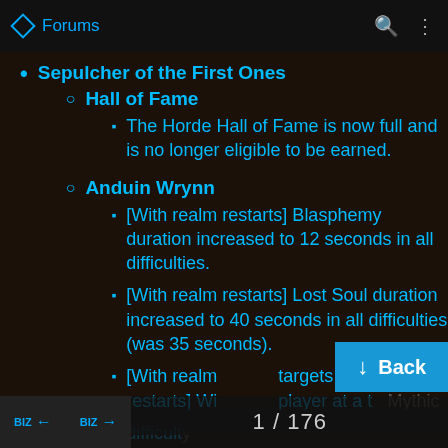Forums
Sepulcher of the First Ones
Hall of Fame
The Horde Hall of Fame is now full and is no longer eligible to be earned.
Anduin Wrynn
[With realm restarts] Blasphemy duration increased to 12 seconds in all difficulties.
[With realm restarts] Lost Soul duration increased to 40 seconds in all difficulties (was 35 seconds).
[With realm restarts] Wi... targets one player at a time in Mythic difficult...
[With re...
1 / 176